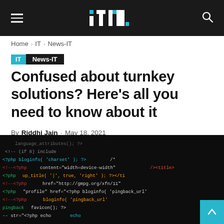itm. [logo with hamburger menu and search icon]
Home › IT › News-IT
IT  News-IT
Confused about turnkey solutions? Here's all you need to know about it
By Riddhi Jain - May 18, 2021
[Figure (photo): Close-up photograph of a dark screen showing PHP/HTML source code with colored syntax highlighting — red, green, yellow, cyan — on a dark background. Code is partially visible at an angle.]